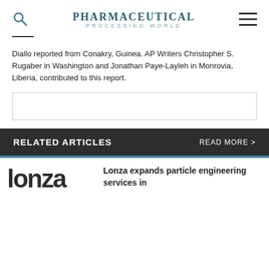Pharmaceutical Processing World
Diallo reported from Conakry, Guinea. AP Writers Christopher S. Rugaber in Washington and Jonathan Paye-Layleh in Monrovia, Liberia, contributed to this report.
RELATED ARTICLES   READ MORE >
Lonza expands particle engineering services in